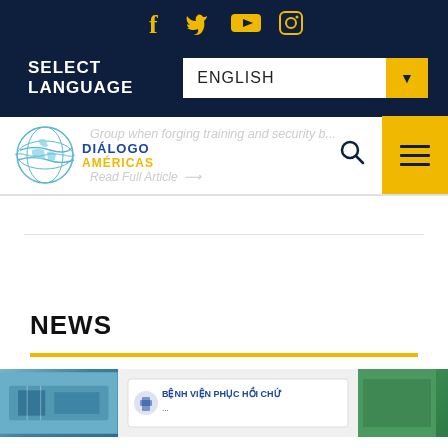Social media icons: Facebook, Twitter, YouTube, Instagram
SELECT LANGUAGE | ENGLISH (dropdown)
[Figure (logo): Diálogo Américas globe logo with blue and gold text]
Group when forging training and security b... Read Full Article →
NEWS
[Figure (photo): Image strip showing hospital sign with text BỆNH VIỆN PHỤC HỒI CHỨ...]